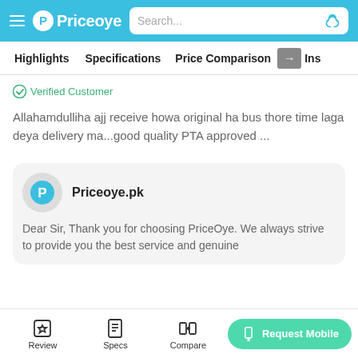[Figure (screenshot): PriceOye website top navigation bar with hamburger menu, logo, and search bar]
Highlights  Specifications  Price Comparison  → Ins
✓ Verified Customer
Allahamdulliha ajj receive howa original ha bus thore time laga deya delivery ma...good quality PTA approved ...
[Figure (logo): Priceoye.pk logo circle with P icon]
Priceoye.pk
Dear Sir, Thank you for choosing PriceOye. We always strive to provide you the best service and genuine
Review  Specs  Compare  Request Mobile